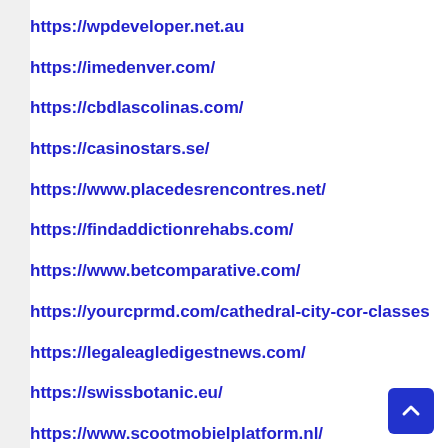https://wpdeveloper.net.au
https://imedenver.com/
https://cbdlascolinas.com/
https://casinostars.se/
https://www.placedesrencontres.net/
https://findaddictionrehabs.com/
https://www.betcomparative.com/
https://yourcprmd.com/cathedral-city-cor-classes
https://legaleagledigestnews.com/
https://swissbotanic.eu/
https://www.scootmobielplatform.nl/